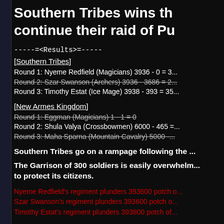Southern Tribes wins th... continue their raid of Pu...
-----=<Results>=-----
[Southern Tribes]
Round 1: Nyeme Redfield (Magicians) 3936 - 0 = 3...
Round 2: Szar Swanson (Archers) 3936 - 3686 = 2... (strikethrough)
Round 3: Timothy Estat (Ice Mage) 3938 - 393 = 35...
[New Armes Kingdom]
Round 1: Eggman (Magicians) 1 - 1 = 0 (strikethrough)
Round 2: Shula Valya (Crossbowmen) 6000 - 465 = ...
Round 3: Maha Sparna (Mountain Cavalry) 5000 - ... (strikethrough)
Southern Tribes go on a rampage following the ...
The Garrison of 300 soldiers is easily overwhelm... to protect its citizens.
Nyeme Redfield's regiment plunders 393600 potch o...
Szar Swanson's regiment plunders 393600 potch o...
Timothy Estat's regiment plunders 393800 potch of...